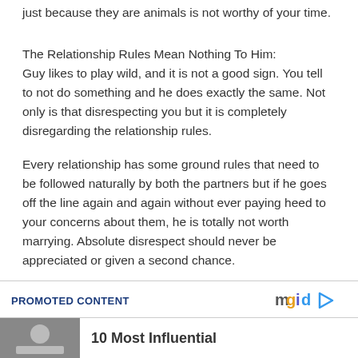just because they are animals is not worthy of your time.
The Relationship Rules Mean Nothing To Him:
Guy likes to play wild, and it is not a good sign. You tell to not do something and he does exactly the same. Not only is that disrespecting you but it is completely disregarding the relationship rules.
Every relationship has some ground rules that need to be followed naturally by both the partners but if he goes off the line again and again without ever paying heed to your concerns about them, he is totally not worth marrying. Absolute disrespect should never be appreciated or given a second chance.
PROMOTED CONTENT
10 Most Influential